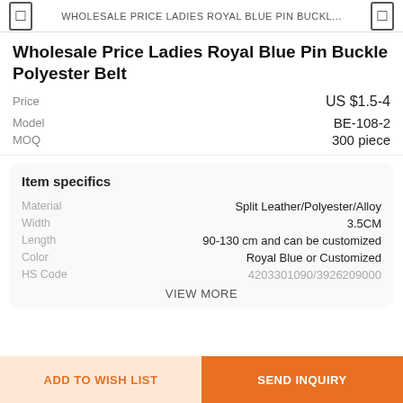WHOLESALE PRICE LADIES ROYAL BLUE PIN BUCKL...
Wholesale Price Ladies Royal Blue Pin Buckle Polyester Belt
| Field | Value |
| --- | --- |
| Price | US $1.5-4 |
| Model | BE-108-2 |
| MOQ | 300 piece |
Item specifics
| Field | Value |
| --- | --- |
| Material | Split Leather/Polyester/Alloy |
| Width | 3.5CM |
| Length | 90-130 cm and can be customized |
| Color | Royal Blue or Customized |
| HS Code | 4203301090/3926209000 |
VIEW MORE
ADD TO WISH LIST
SEND INQUIRY